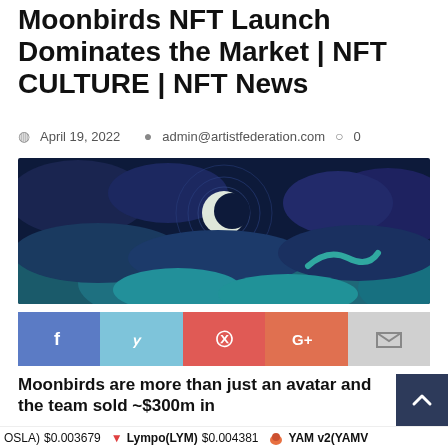Moonbirds NFT Launch Dominates the Market | NFT CULTURE | NFT News
April 19, 2022   admin@artistfederation.com   0
[Figure (illustration): Moonbirds NFT artwork: dark night sky with crescent moon visible through clouds, stylized blue and teal cloud formations in foreground]
[Figure (infographic): Social share buttons row: Facebook (blue), Twitter (light blue), Pinterest (red), Google+ (orange-red), Email (gray)]
Moonbirds are more than just an avatar and the team sold ~$300m in
DOSLA) $0.003679   Lympo(LYM) $0.004381   YAM v2(YAMV